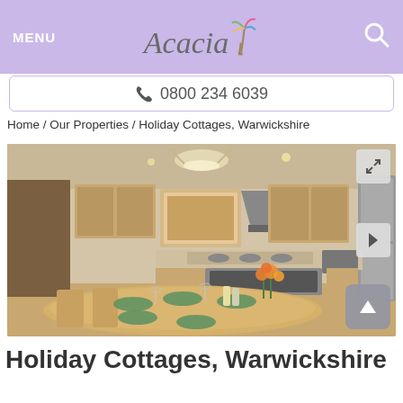MENU | Acacia | [search]
0800 234 6039
Home / Our Properties / Holiday Cottages, Warwickshire
[Figure (photo): Interior photo of a holiday cottage kitchen and dining area with wooden furniture, set dining table with wine glasses and green placemats, orange flower arrangement, and a modern fitted kitchen with stainless steel appliances in the background.]
Holiday Cottages, Warwickshire